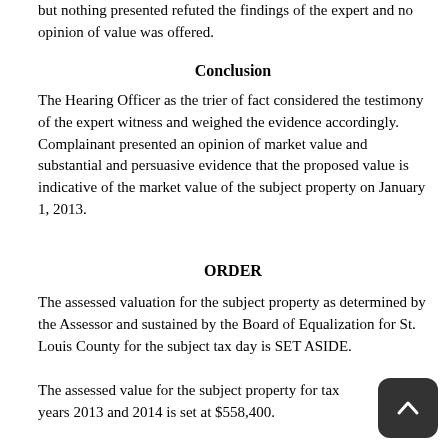but nothing presented refuted the findings of the expert and no opinion of value was offered.
Conclusion
The Hearing Officer as the trier of fact considered the testimony of the expert witness and weighed the evidence accordingly. Complainant presented an opinion of market value and substantial and persuasive evidence that the proposed value is indicative of the market value of the subject property on January 1, 2013.
ORDER
The assessed valuation for the subject property as determined by the Assessor and sustained by the Board of Equalization for St. Louis County for the subject tax day is SET ASIDE.
The assessed value for the subject property for tax years 2013 and 2014 is set at $558,400.